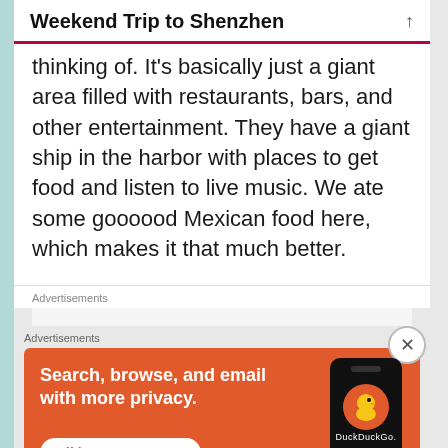Weekend Trip to Shenzhen
thinking of. It’s basically just a giant area filled with restaurants, bars, and other entertainment. They have a giant ship in the harbor with places to get food and listen to live music. We ate some goooood Mexican food here, which makes it that much better.
Advertisements
[Figure (screenshot): Partial advertisement showing P2 logo with black icon and bold text]
Advertisements
[Figure (screenshot): DuckDuckGo advertisement banner on orange background with tagline 'Search, browse, and email with more privacy. All in One Free App' with phone showing DuckDuckGo logo]